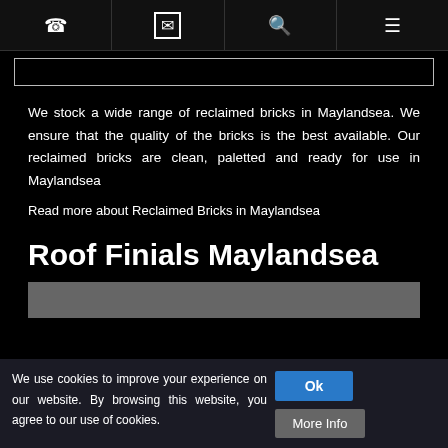[phone icon] | [email icon] | [search icon] | [menu icon]
[Figure (screenshot): Search input bar, empty, with border]
We stock a wide range of reclaimed bricks in Maylandsea. We ensure that the quality of the bricks is the best available. Our reclaimed bricks are clean, paletted and ready for use in Maylandsea
Read more about Reclaimed Bricks in Maylandsea
Roof Finials Maylandsea
[Figure (screenshot): Gray image/banner placeholder at bottom of page]
We use cookies to improve your experience on our website. By browsing this website, you agree to our use of cookies.
Ok  More Info